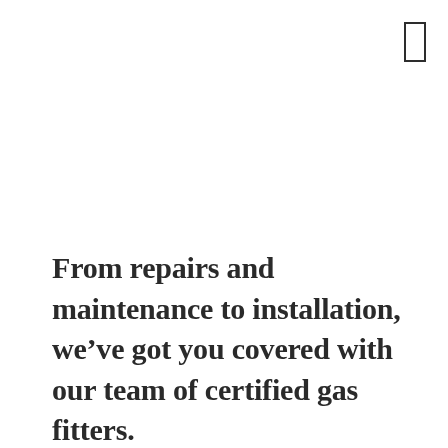[Figure (other): Small outlined rectangle/checkbox element in the upper right corner of the page]
From repairs and maintenance to installation, we’ve got you covered with our team of certified gas fitters.